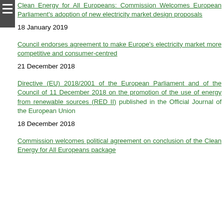Clean Energy for All Europeans: Commission Welcomes European Parliament's adoption of new electricity market design proposals
18 January 2019
Council endorses agreement to make Europe's electricity market more competitive and consumer-centred
21 December 2018
Directive (EU) 2018/2001 of the European Parliament and of the Council of 11 December 2018 on the promotion of the use of energy from renewable sources (RED II) published in the Official Journal of the European Union
18 December 2018
Commission welcomes political agreement on conclusion of the Clean Energy for All Europeans package